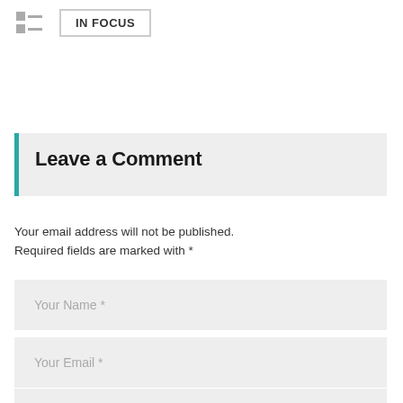[Figure (other): Icon with grid/list symbol next to an IN FOCUS button with border]
Leave a Comment
Your email address will not be published. Required fields are marked with *
Your Name *
Your Email *
Website
Comment *